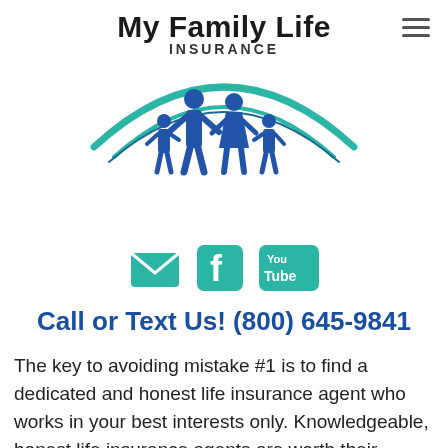[Figure (logo): My Family Life Insurance logo with teal swoosh arcs, blue family silhouette (two adults and two children holding hands), company name 'My Family Life INSURANCE' in bold text above the figure]
[Figure (infographic): Three social media icons in teal: envelope/email icon, Facebook icon, YouTube icon]
Call or Text Us! (800) 645-9841
The key to avoiding mistake #1 is to find a dedicated and honest life insurance agent who works in your best interests only. Knowledgeable, honest life insurance agents are worth their weight in gold. Their value is priceless. I am sure you can agree that when you find someone who works only